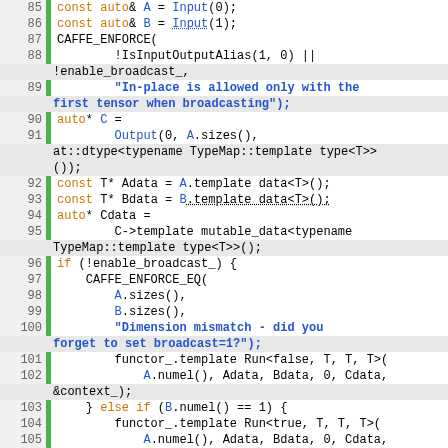[Figure (screenshot): Source code screenshot showing C++ code lines 85-109 with syntax highlighting. Green gutter bar on left, line numbers in gray, code with orange keywords (const, auto, if, else), blue function/variable names, and blue bold string literals.]